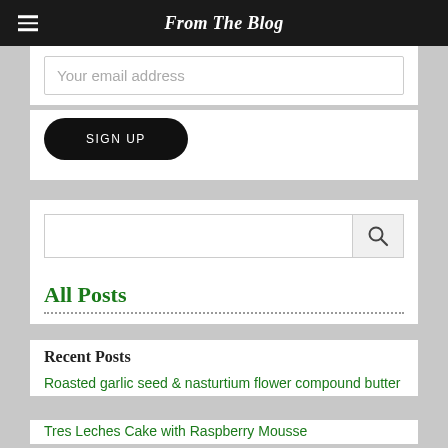From The Blog
Your email address
SIGN UP
[Figure (screenshot): Search input box with magnifying glass icon button]
All Posts
Recent Posts
Roasted garlic seed & nasturtium flower compound butter
Tres Leches Cake with Raspberry Mousse